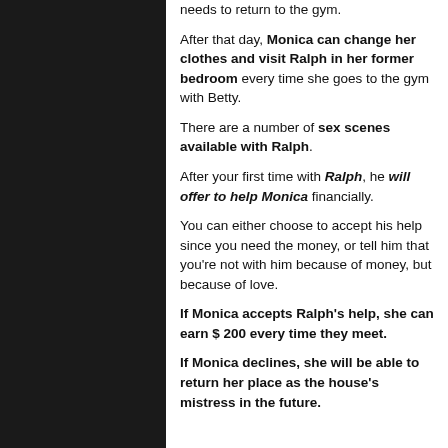needs to return to the gym.
After that day, Monica can change her clothes and visit Ralph in her former bedroom every time she goes to the gym with Betty.
There are a number of sex scenes available with Ralph.
After your first time with Ralph, he will offer to help Monica financially.
You can either choose to accept his help since you need the money, or tell him that you're not with him because of money, but because of love.
If Monica accepts Ralph's help, she can earn $ 200 every time they meet.
If Monica declines, she will be able to return her place as the house's mistress in the future.